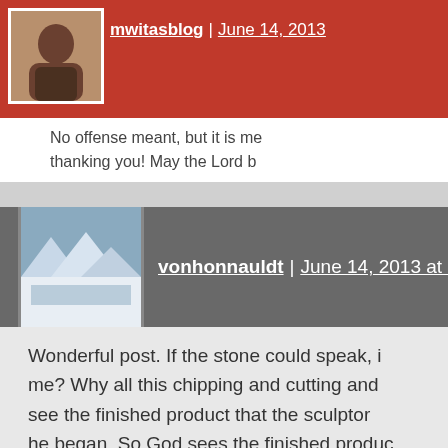[Figure (photo): Avatar photo of mwitasblog user, showing a person's face]
mwitasblog | June 14, 2013
No offense meant, but it is me thanking you! May the Lord b
Like
[Figure (photo): Avatar photo of vonhonnauldt user, showing a winter/snow landscape scene]
vonhonnauldt | June 14, 2013 at 9:36 am
Wonderful post. If the stone could speak, me? Why all this chipping and cutting and see the finished product that the sculptor he began. So God sees the finished produc His beloved Son. It’s only through faith in H that we know there is such a “product” an it to be made manifest! Thanks for these w